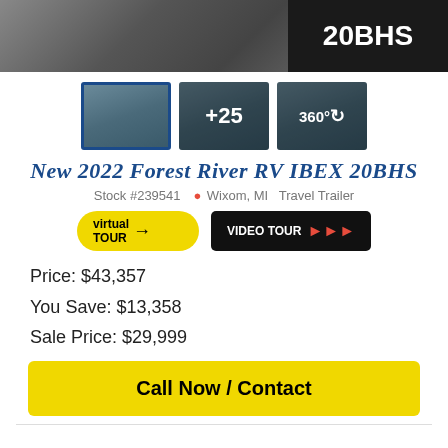[Figure (photo): Top banner showing a person standing near an RV with text '20BHS' overlaid on dark background]
[Figure (photo): Three thumbnail images: interior RV photo (selected with blue border), '+25' overlay thumbnail, and '360°' virtual tour thumbnail]
New 2022 Forest River RV IBEX 20BHS
Stock #239541  Wixom, MI  Travel Trailer
[Figure (other): Two buttons: yellow 'virtual TOUR' button and black 'VIDEO TOUR' button with red arrows]
Price: $43,357
You Save: $13,358
Sale Price: $29,999
Call Now / Contact